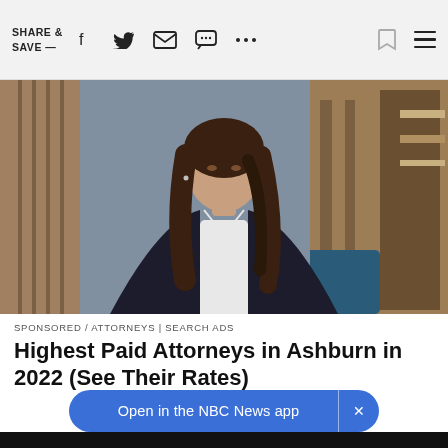SHARE & SAVE —
[Figure (photo): Professional woman in dark blazer and white shirt, standing in a modern office with wood paneling, long brown hair, looking at camera]
SPONSORED / ATTORNEYS | SEARCH ADS
Highest Paid Attorneys in Ashburn in 2022 (See Their Rates)
[Figure (photo): Two people visible from shoulders up against dark background, partially cut off at bottom of page]
Open in the NBC News app